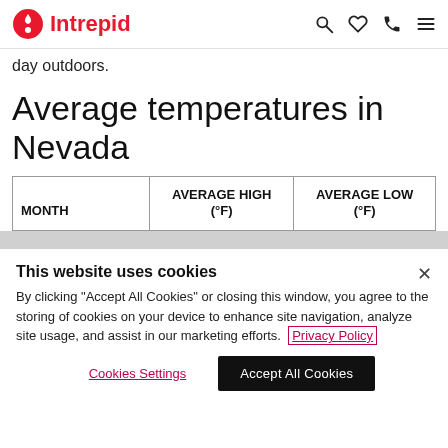Intrepid
day outdoors.
Average temperatures in Nevada
| MONTH | AVERAGE HIGH (°F) | AVERAGE LOW (°F) |
| --- | --- | --- |
This website uses cookies
By clicking "Accept All Cookies" or closing this window, you agree to the storing of cookies on your device to enhance site navigation, analyze site usage, and assist in our marketing efforts. Privacy Policy